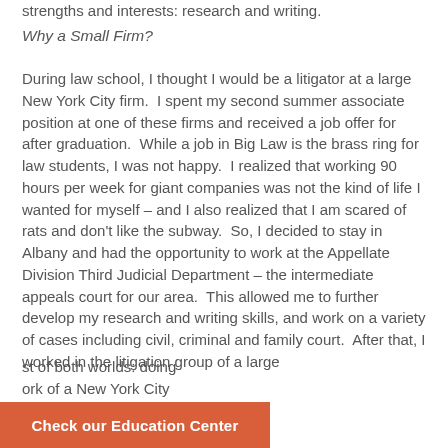strengths and interests: research and writing.
Why a Small Firm?
During law school, I thought I would be a litigator at a large New York City firm.  I spent my second summer associate position at one of these firms and received a job offer for after graduation.  While a job in Big Law is the brass ring for law students, I was not happy.  I realized that working 90 hours per week for giant companies was not the kind of life I wanted for myself – and I also realized that I am scared of rats and don't like the subway.  So, I decided to stay in Albany and had the opportunity to work at the Appellate Division Third Judicial Department – the intermediate appeals court for our area.  This allowed me to further develop my research and writing skills, and work on a variety of cases including civil, criminal and family court.  After that, I worked in the litigation group of a large
st of both worlds: doing
ork of a New York City
Check our Education Center